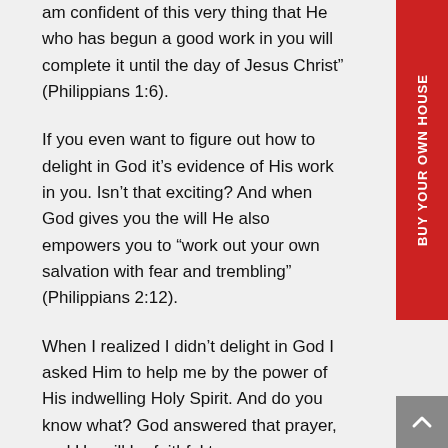am confident of this very thing that He who has begun a good work in you will complete it until the day of Jesus Christ” (Philippians 1:6).
If you even want to figure out how to delight in God it’s evidence of His work in you. Isn’t that exciting? And when God gives you the will He also empowers you to “work out your own salvation with fear and trembling” (Philippians 2:12).
When I realized I didn’t delight in God I asked Him to help me by the power of His indwelling Holy Spirit. And do you know what? God answered that prayer, and He will be faithful to answer yours too. God says, “You have not because you ask not.” Ask and He promises to answer when you pray according to His will because it brings glory to His Son (James 4:2b & John 14:13-14).
[Figure (other): Red vertical sidebar banner with white rotated text reading BUY YOUR OWN HOUSE]
[Figure (other): Gray back-to-top button with white upward arrow chevron]